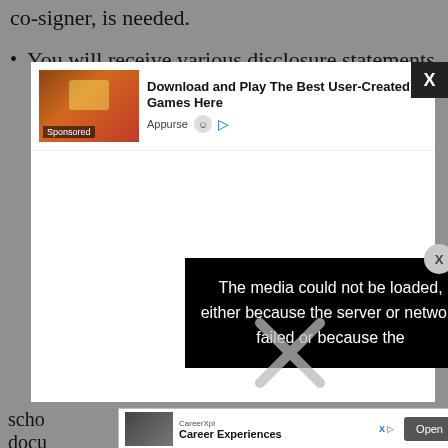co-signer, is needed.
You will receive various disclosure statements
[Figure (screenshot): Advertisement overlay showing a game ad: 'Download and Play The Best User-Created Games Here' from Appurse, with a gaming screenshot thumbnail labeled 'Sponsored'. Has a black X close button in top-right corner.]
[Figure (screenshot): Media error message overlay on black background: 'The media could not be loaded, either because the server or network failed or because the' with a large X drawn over it. Has a circular X close button.]
scho
docu
[Figure (screenshot): Bottom ad bar for CareerXpl 'Career Experiences' with an Open button and tracking icons (X and play button).]